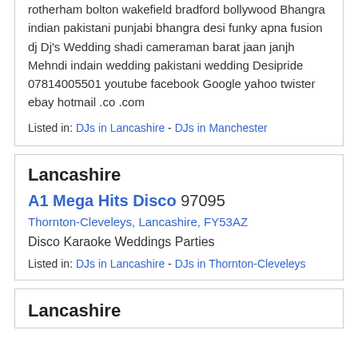rotherham bolton wakefield bradford bollywood Bhangra indian pakistani punjabi bhangra desi funky apna fusion dj Dj's Wedding shadi cameraman barat jaan janjh Mehndi indain wedding pakistani wedding Desipride 07814005501 youtube facebook Google yahoo twister ebay hotmail .co .com
Listed in: DJs in Lancashire - DJs in Manchester
Lancashire
A1 Mega Hits Disco 97095
Thornton-Cleveleys, Lancashire, FY53AZ
Disco Karaoke Weddings Parties
Listed in: DJs in Lancashire - DJs in Thornton-Cleveleys
Lancashire